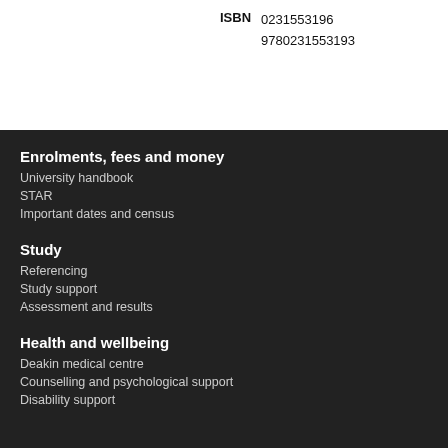ISBN  0231553196
9780231553193
Enrolments, fees and money
University handbook
STAR
Important dates and census
Study
Referencing
Study support
Assessment and results
Health and wellbeing
Deakin medical centre
Counselling and psychological support
Disability support